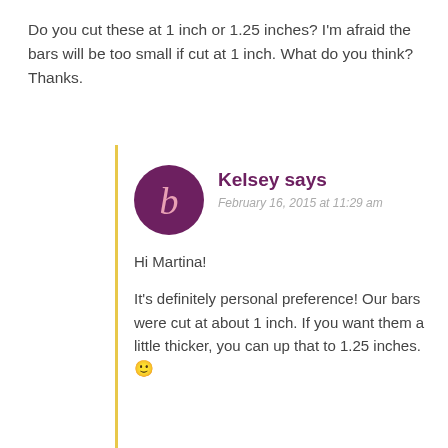Do you cut these at 1 inch or 1.25 inches? I'm afraid the bars will be too small if cut at 1 inch. What do you think? Thanks.
Kelsey says
February 16, 2015 at 11:29 am
Hi Martina!
It's definitely personal preference! Our bars were cut at about 1 inch. If you want them a little thicker, you can up that to 1.25 inches. 🙂
-Kelsey with Bramble Berry